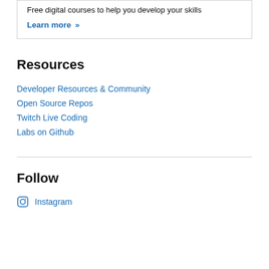Free digital courses to help you develop your skills
Learn more »
Resources
Developer Resources & Community
Open Source Repos
Twitch Live Coding
Labs on Github
Follow
Instagram